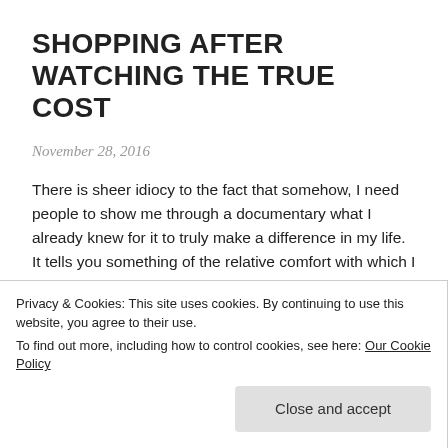SHOPPING AFTER WATCHING THE TRUE COST
November 28, 2016
There is sheer idiocy to the fact that somehow, I need people to show me through a documentary what I already knew for it to truly make a difference in my life. It tells you something of the relative comfort with which I can surround myself if I so wish (and so, in essense, this is a story of my privilege). If I so choose, I could live my life and not care about anything else that goes on in the world, if I don't actively want to care. I think this is in due part to the way we
Privacy & Cookies: This site uses cookies. By continuing to use this website, you agree to their use.
To find out more, including how to control cookies, see here: Our Cookie Policy